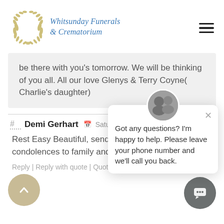[Figure (logo): Whitsunday Funerals & Crematorium logo with olive wreath and italic blue text]
be there with you's tomorrow. We will be thinking of you all. All our love Glenys & Terry Coyne( Charlie's daughter)
# Demi Gerhart  Saturday
Rest Easy Beautiful, sending my condolences to family and close friends
Reply | Reply with quote | Quote
[Figure (screenshot): Chat popup widget with photo of two people and text: Got any questions? I'm happy to help. Please leave your phone number and we'll call you back.]